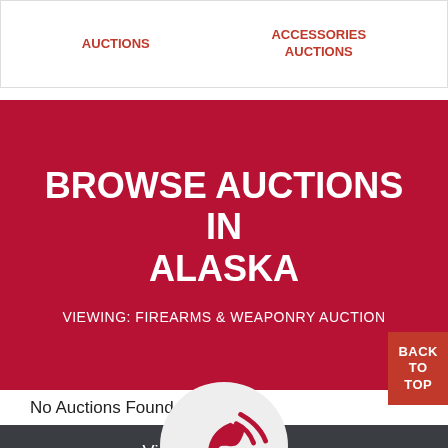AUCTIONS
ACCESSORIES AUCTIONS
BROWSE AUCTIONS IN ALASKA
VIEWING: FIREARMS & WEAPONRY AUCTIONS
BACK TO TOP
No Auctions Found
View More Auctions
[Figure (illustration): Phone/call icon inside a light grey circle]